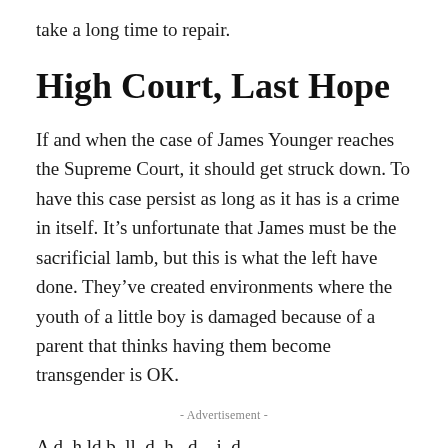take a long time to repair.
High Court, Last Hope
If and when the case of James Younger reaches the Supreme Court, it should get struck down. To have this case persist as long as it has is a crime in itself. It’s unfortunate that James must be the sacrificial lamb, but this is what the left have done. They’ve created environments where the youth of a little boy is damaged because of a parent that thinks having them become transgender is OK.
- Advertisement -
A d h ld b ll d h d i d